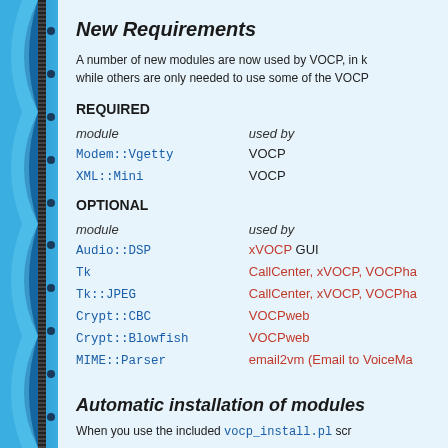New Requirements
A number of new modules are now used by VOCP, in k... while others are only needed to use some of the VOCP...
| module | used by |
| --- | --- |
| Modem::Vgetty | VOCP |
| XML::Mini | VOCP |
| module | used by |
| --- | --- |
| Audio::DSP | xVOCP GUI |
| Tk | CallCenter, xVOCP, VOCPha... |
| Tk::JPEG | CallCenter, xVOCP, VOCPha... |
| Crypt::CBC | VOCPweb |
| Crypt::Blowfish | VOCPweb |
| MIME::Parser | email2vm (Email to VoiceMa... |
Automatic installation of modules
When you use the included vocp_install.pl scr...